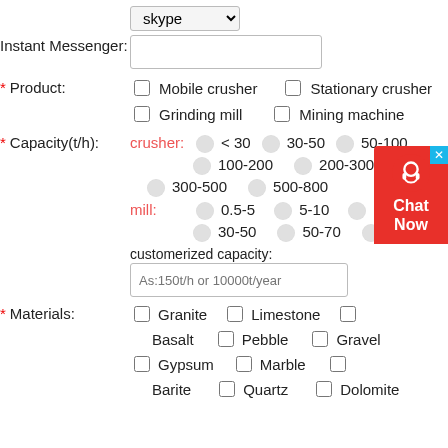Instant Messenger:
Product:
Mobile crusher  Stationary crusher  Grinding mill  Mining machine
Capacity(t/h): crusher: < 30  30-50  50-100  100-200  200-300  300-500  500-800  mill: 0.5-5  5-10  10-30  30-50  50-70  > 70  Your customerized capacity:
As:150t/h or 10000t/year
Materials:
Granite  Limestone  Basalt  Pebble  Gravel  Gypsum  Marble  Barite  Quartz  Dolomite